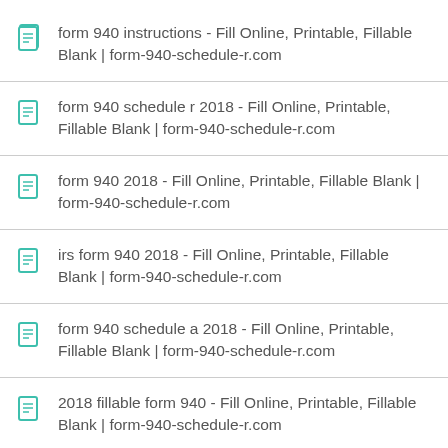form 940 instructions - Fill Online, Printable, Fillable Blank | form-940-schedule-r.com
form 940 schedule r 2018 - Fill Online, Printable, Fillable Blank | form-940-schedule-r.com
form 940 2018 - Fill Online, Printable, Fillable Blank | form-940-schedule-r.com
irs form 940 2018 - Fill Online, Printable, Fillable Blank | form-940-schedule-r.com
form 940 schedule a 2018 - Fill Online, Printable, Fillable Blank | form-940-schedule-r.com
2018 fillable form 940 - Fill Online, Printable, Fillable Blank | form-940-schedule-r.com